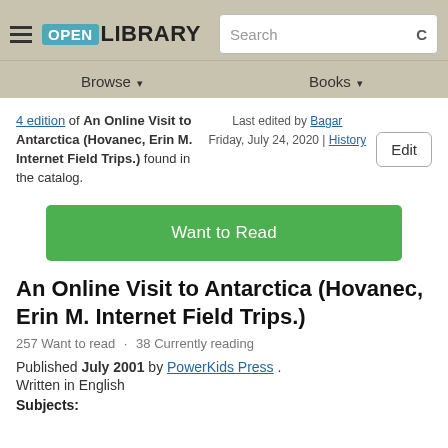Open Library — Browse | Books | Search
4 edition of An Online Visit to Antarctica (Hovanec, Erin M. Internet Field Trips.) found in the catalog.
Last edited by Bagar
Friday, July 24, 2020 | History
Want to Read
An Online Visit to Antarctica (Hovanec, Erin M. Internet Field Trips.)
257 Want to read · 38 Currently reading
Published July 2001 by PowerKids Press .
Written in English
Subjects: